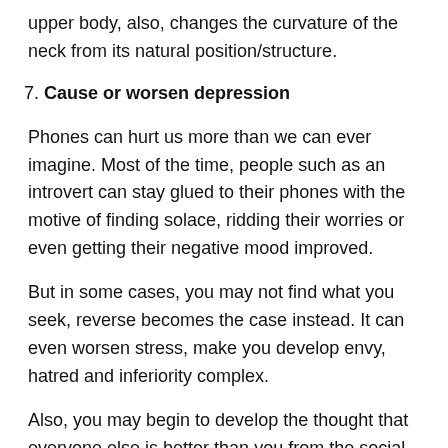upper body, also, changes the curvature of the neck from its natural position/structure.
7. Cause or worsen depression
Phones can hurt us more than we can ever imagine. Most of the time, people such as an introvert can stay glued to their phones with the motive of finding solace, ridding their worries or even getting their negative mood improved.
But in some cases, you may not find what you seek, reverse becomes the case instead. It can even worsen stress, make you develop envy, hatred and inferiority complex.
Also, you may begin to develop the thought that everyone else is better than you from the social media perspective.
This leads to losing interest in self worth, esteem, and